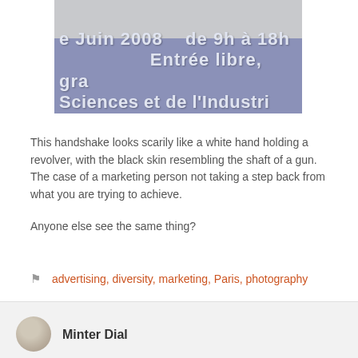[Figure (photo): A partially visible event poster or advertisement with text in French. Shows 'e Juin 2008', 'de 9h à 18h', 'Entrée libre, gra', 'Sciences et de l'Industri' on a purple-blue background, with faces partially visible at the top.]
This handshake looks scarily like a white hand holding a revolver, with the black skin resembling the shaft of a gun. The case of a marketing person not taking a step back from what you are trying to achieve.
Anyone else see the same thing?
advertising, diversity, marketing, Paris, photography
Minter Dial